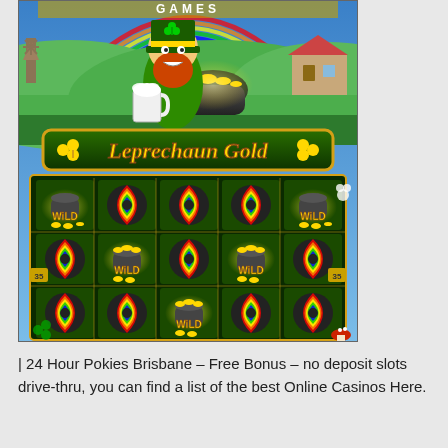[Figure (screenshot): Screenshot of 'Leprechaun Gold' slot machine game showing a leprechaun character, rainbow background, pot of gold symbols, wild symbols on reels, with green shamrock decorations and game title banner.]
| 24 Hour Pokies Brisbane – Free Bonus – no deposit slots drive-thru, you can find a list of the best Online Casinos Here.